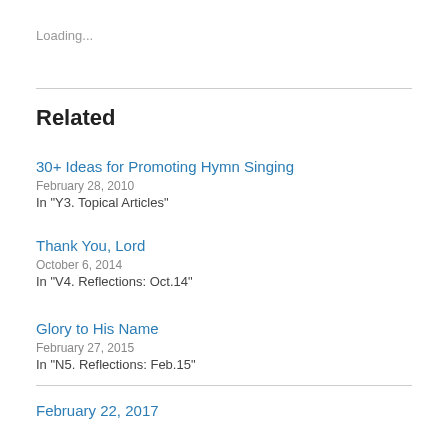Loading...
Related
30+ Ideas for Promoting Hymn Singing
February 28, 2010
In "Y3. Topical Articles"
Thank You, Lord
October 6, 2014
In "V4. Reflections: Oct.14"
Glory to His Name
February 27, 2015
In "N5. Reflections: Feb.15"
February 22, 2017